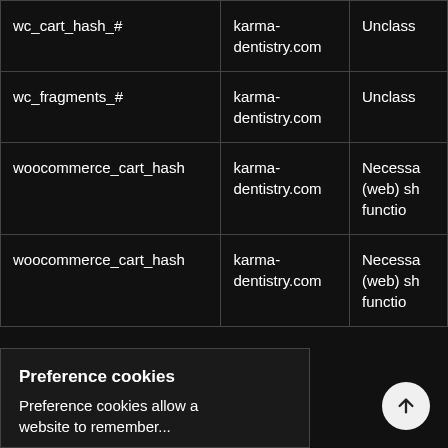| Name | Provider | Category |
| --- | --- | --- |
| wc_cart_hash_# | karma-dentistry.com | Unclass... |
| wc_fragments_# | karma-dentistry.com | Unclass... |
| woocommerce_cart_hash | karma-dentistry.com | Necessa... (web) sh... functio... |
| woocommerce_cart_hash | karma-dentistry.com | Necessa... (web) sh... functio... |
Preference cookies
Preference cookies allow a website to remember...